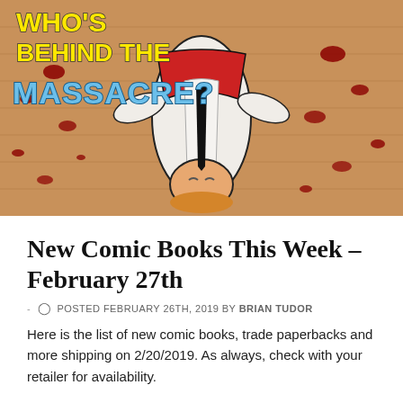[Figure (illustration): Comic book cover showing an upside-down character lying on a wooden floor with blood spatters. Yellow bold text reads 'WHO'S BEHIND THE' and stylized text reads 'MASSACRE?' in blue comic lettering. The character wears a red and white outfit.]
New Comic Books This Week – February 27th
- POSTED FEBRUARY 26TH, 2019 BY BRIAN TUDOR
Here is the list of new comic books, trade paperbacks and more shipping on 2/20/2019. As always, check with your retailer for availability.